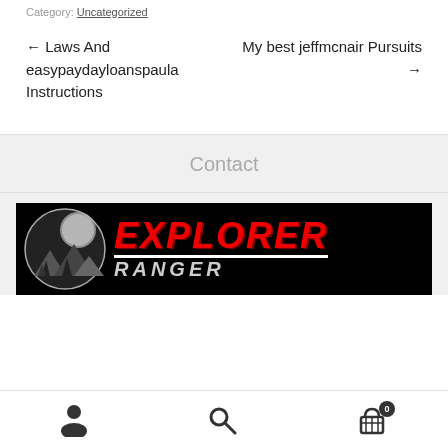Category: Uncategorized
← Laws And easypaydayloanspaula Instructions
My best jeffmcnair Pursuits →
Contact
[Figure (logo): Explorer Ranger logo on black background with circular forest/mountain illustration on left and bold red italic EXPLORER text with white RANGER text below]
User icon | Search icon | Cart icon with badge 0